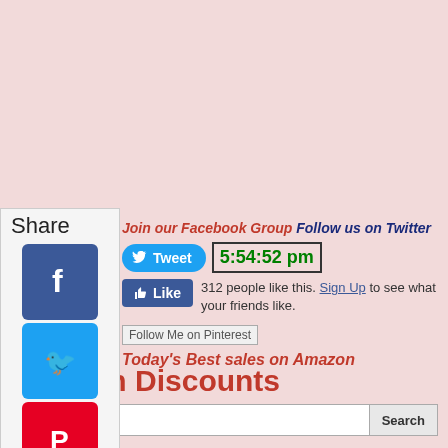Share
[Figure (infographic): Social sharing sidebar with icons for Facebook, Twitter, Pinterest, Tumblr, Reddit, WhatsApp]
Join our Facebook Group Follow us on Twitter
Tweet  5:54:52 pm
312 people like this. Sign Up to see what your friends like.
[Figure (screenshot): Follow Me on Pinterest button/image placeholder]
Today's Best sales on Amazon
Amazon Discounts
Search
Google